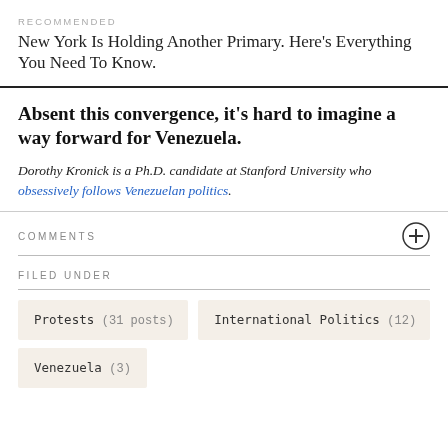RECOMMENDED
New York Is Holding Another Primary. Here’s Everything You Need To Know.
Absent this convergence, it’s hard to imagine a way forward for Venezuela.
Dorothy Kronick is a Ph.D. candidate at Stanford University who obsessively follows Venezuelan politics.
COMMENTS
FILED UNDER
Protests (31 posts)
International Politics (12)
Venezuela (3)